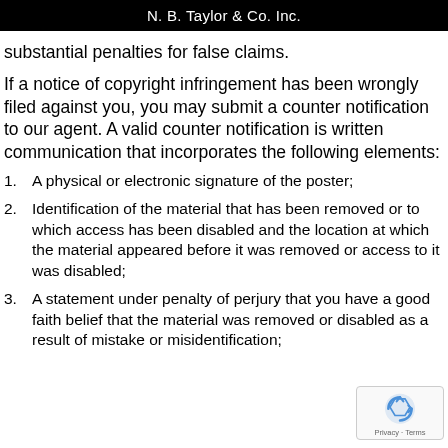N. B. Taylor & Co. Inc.
substantial penalties for false claims.
If a notice of copyright infringement has been wrongly filed against you, you may submit a counter notification to our agent. A valid counter notification is written communication that incorporates the following elements:
1. A physical or electronic signature of the poster;
2. Identification of the material that has been removed or to which access has been disabled and the location at which the material appeared before it was removed or access to it was disabled;
3. A statement under penalty of perjury that you have a good faith belief that the material was removed or disabled as a result of mistake or misidentification;